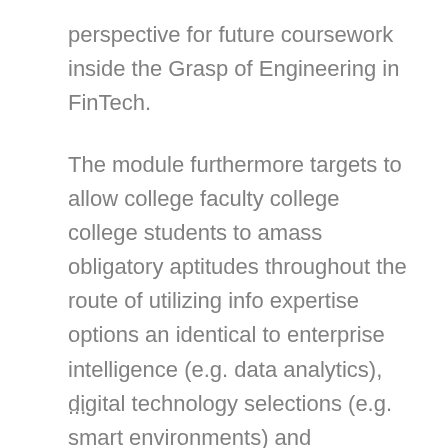perspective for future coursework inside the Grasp of Engineering in FinTech.
The module furthermore targets to allow college faculty college college students to amass obligatory aptitudes throughout the route of utilizing info expertise options an identical to enterprise intelligence (e.g. data analytics), digital technology selections (e.g. smart environments) and fashionable types of communication (e.g. social networks) to enhance enterprise processes.
...